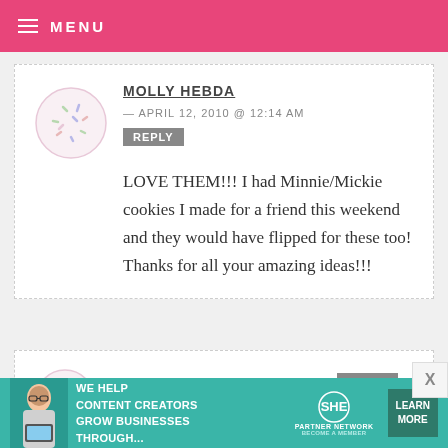MENU
MOLLY HEBDA — APRIL 12, 2010 @ 12:14 AM
REPLY
LOVE THEM!!! I had Minnie/Mickie cookies I made for a friend this weekend and they would have flipped for these too! Thanks for all your amazing ideas!!!
KIM — APRIL 12, 2010 @ 12:08 AM REPLY
[Figure (infographic): SHE Partner Network advertisement banner: We help content creators grow businesses through... with Learn More button]